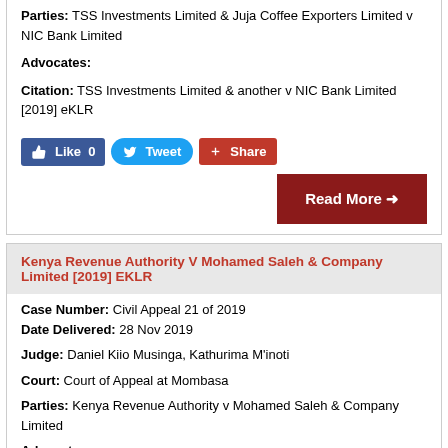Parties: TSS Investments Limited & Juja Coffee Exporters Limited v NIC Bank Limited
Advocates:
Citation: TSS Investments Limited & another v NIC Bank Limited [2019] eKLR
[Figure (screenshot): Social sharing buttons: Like 0, Tweet, Share]
Read More →
Kenya Revenue Authority V Mohamed Saleh & Company Limited [2019] EKLR
Case Number: Civil Appeal 21 of 2019   Date Delivered: 28 Nov 2019
Judge: Daniel Kiio Musinga, Kathurima M'inoti
Court: Court of Appeal at Mombasa
Parties: Kenya Revenue Authority v Mohamed Saleh & Company Limited
Advocates: